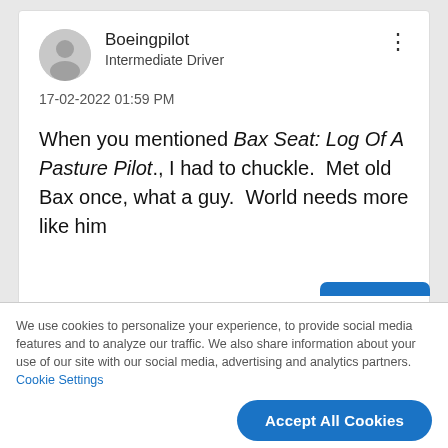[Figure (illustration): User avatar: circular grey placeholder icon with a person silhouette]
Boeingpilot
Intermediate Driver
17-02-2022 01:59 PM
When you mentioned Bax Seat: Log Of A Pasture Pilot., I had to chuckle.  Met old Bax once, what a guy.  World needs more like him
We use cookies to personalize your experience, to provide social media features and to analyze our traffic. We also share information about your use of our site with our social media, advertising and analytics partners. Cookie Settings
Accept All Cookies